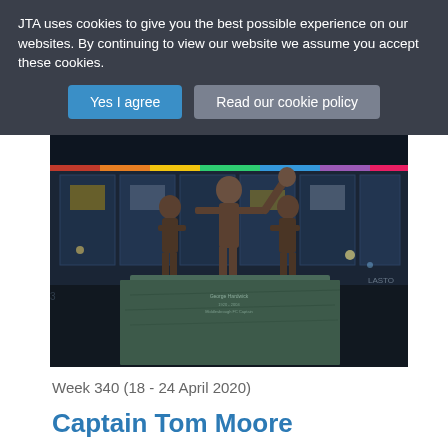JTA uses cookies to give you the best possible experience on our websites. By continuing to view our website we assume you accept these cookies.
Yes I agree | Read our cookie policy
[Figure (photo): Bronze statues of three football players outside a modern glass stadium building lit with colourful lights at night, on a large green-veined marble plinth with an inscription.]
Week 340 (18 - 24 April 2020)
Captain Tom Moore